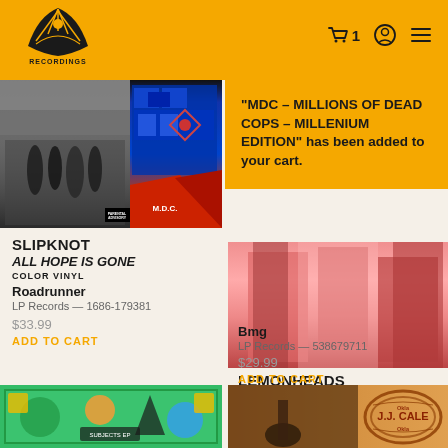Recordings logo, cart (1), account, menu
“MDC – MILLIONS OF DEAD COPS – MILLENIUM EDITION” has been added to your cart.
[Figure (photo): Slipknot All Hope Is Gone album cover and MDC Millions of Dead Cops album cover side by side]
SLIPKNOT
ALL HOPE IS GONE
COLOR VINYL
Roadrunner
LP Records — 1686-179381
$33.99
ADD TO CART
[Figure (photo): Lemonheads S/T album cover in pink/red tones]
LEMONHEADS
S/T
COLOR VINYL
Bmg
LP Records — 538679711
$29.99
ADD TO CART
[Figure (photo): Green illustrated album cover bottom left]
[Figure (photo): J.J. Cale album cover bottom right]